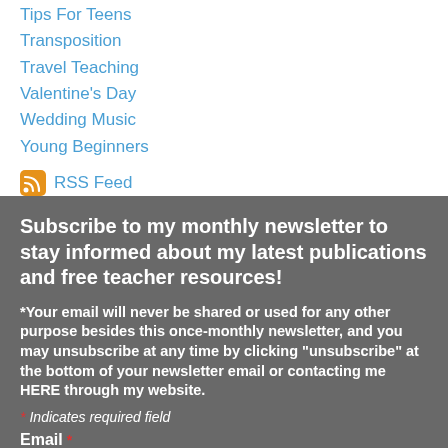Tips For Teens
Transposition
Travel Teaching
Valentine's Day
Wedding Music
Young Beginners
[Figure (logo): RSS Feed icon with link]
Subscribe to my monthly newsletter to stay informed about my latest publications and free teacher resources!
*Your email will never be shared or used for any other purpose besides this once-monthly newsletter, and you may unsubscribe at any time by clicking "unsubscribe" at the bottom of your newsletter email or contacting me HERE through my website.
* Indicates required field
Email *